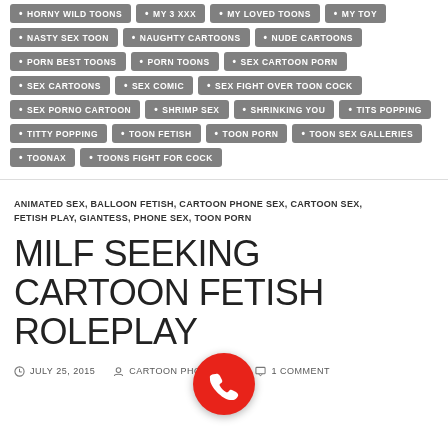HORNY WILD TOONS
MY 3 XXX
MY LOVED TOONS
MY TOY
NASTY SEX TOON
NAUGHTY CARTOONS
NUDE CARTOONS
PORN BEST TOONS
PORN TOONS
SEX CARTOON PORN
SEX CARTOONS
SEX COMIC
SEX FIGHT OVER TOON COCK
SEX PORNO CARTOON
SHRIMP SEX
SHRINKING YOU
TITS POPPING
TITTY POPPING
TOON FETISH
TOON PORN
TOON SEX GALLERIES
TOONAX
TOONS FIGHT FOR COCK
ANIMATED SEX, BALLOON FETISH, CARTOON PHONE SEX, CARTOON SEX, FETISH PLAY, GIANTESS, PHONE SEX, TOON PORN
MILF SEEKING CARTOON FETISH ROLEPLAY
JULY 25, 2015   CARTOON PHONE SEX   1 COMMENT